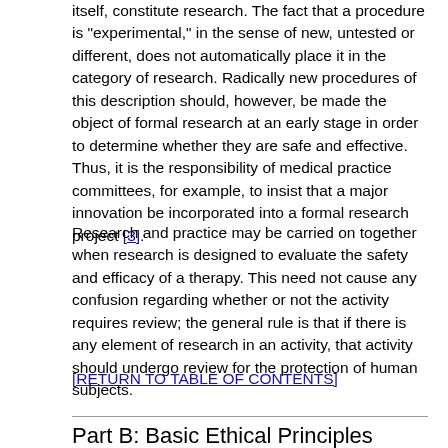itself, constitute research. The fact that a procedure is "experimental," in the sense of new, untested or different, does not automatically place it in the category of research. Radically new procedures of this description should, however, be made the object of formal research at an early stage in order to determine whether they are safe and effective. Thus, it is the responsibility of medical practice committees, for example, to insist that a major innovation be incorporated into a formal research project [3].
Research and practice may be carried on together when research is designed to evaluate the safety and efficacy of a therapy. This need not cause any confusion regarding whether or not the activity requires review; the general rule is that if there is any element of research in an activity, that activity should undergo review for the protection of human subjects.
[RETURN TO TABLE OF CONTENTS]
Part B: Basic Ethical Principles